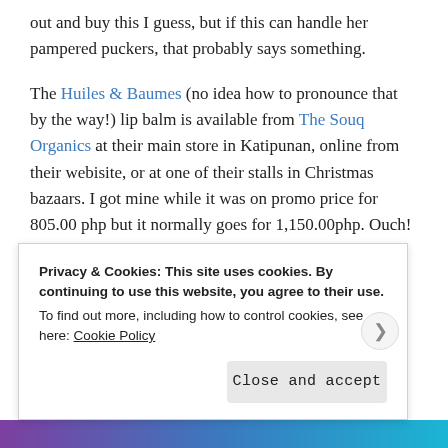out and buy this I guess, but if this can handle her pampered puckers, that probably says something.

The Huiles & Baumes (no idea how to pronounce that by the way!) lip balm is available from The Souq Organics at their main store in Katipunan, online from their webisite, or at one of their stalls in Christmas bazaars. I got mine while it was on promo price for 805.00 php but it normally goes for 1,150.00php. Ouch! I do think that it is worth paying for a little luxury once in a while though, especially when it is organic luxury. Love. ♥
Advertisements
Privacy & Cookies: This site uses cookies. By continuing to use this website, you agree to their use.
To find out more, including how to control cookies, see here: Cookie Policy
Close and accept